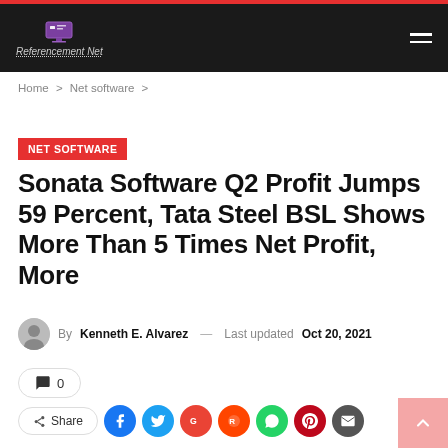Referencement Net
Home > Net software >
NET SOFTWARE
Sonata Software Q2 Profit Jumps 59 Percent, Tata Steel BSL Shows More Than 5 Times Net Profit, More
By Kenneth E. Alvarez — Last updated Oct 20, 2021
0
Share